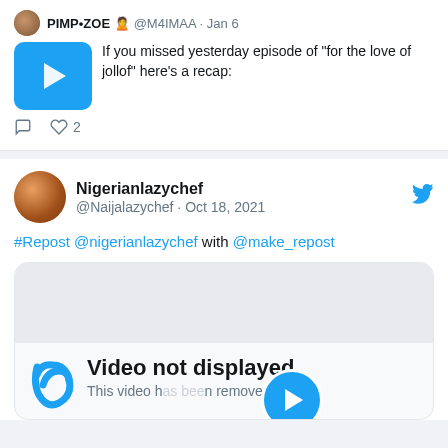PIMP•ZOE 🙎 @M4IMAA · Jan 6
If you missed yesterday episode of "for the love of jollof" here's a recap:
[Figure (screenshot): Video thumbnail with blue background and white play button]
♡ 2
Nigerianlazychef @Naijalazychef · Oct 18, 2021
#Repost @nigerianlazychef with @make_repost
[Figure (screenshot): Video not displayed card with Vine logo, text 'Video not displayed', 'This video has been removed in res' and a circular play button overlay]